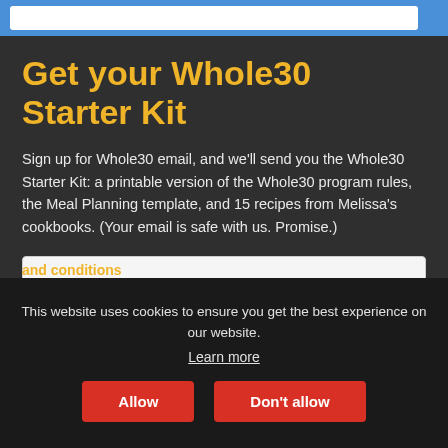Browser navigation bar (UI element)
Get your Whole30 Starter Kit
Sign up for Whole30 email, and we’ll send you the Whole30 Starter Kit: a printable version of the Whole30 program rules, the Meal Planning template, and 15 recipes from Melissa’s cookbooks. (Your email is safe with us. Promise.)
Enter your email
By signing up for our newsletter, you agree to our terms and conditions
This website uses cookies to ensure you get the best experience on our website. Learn more
Allow
Don’t allow